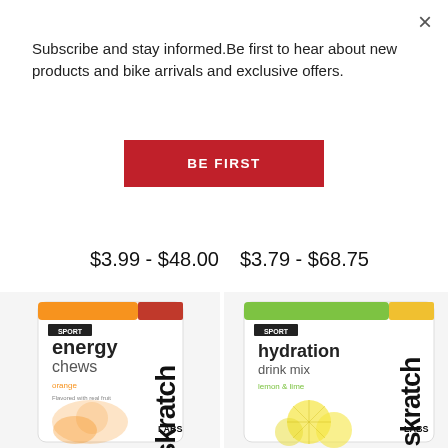×
Subscribe and stay informed.Be first to hear about new products and bike arrivals and exclusive offers.
BE FIRST
$3.99 - $48.00
$3.79 - $68.75
[Figure (photo): Skratch Labs Sport Energy Chews - orange flavor package, white pouch with orange/red top]
[Figure (photo): Skratch Labs Sport Hydration Drink Mix - lemon & lime flavor, green/yellow top package]